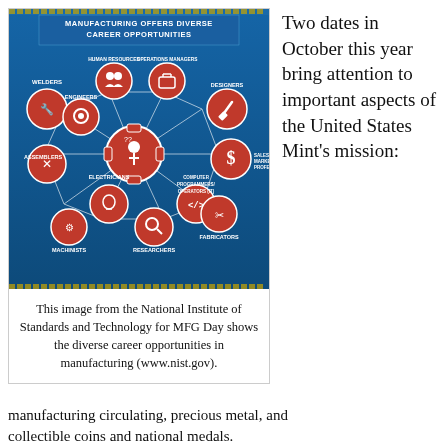[Figure (infographic): Infographic titled 'Manufacturing Offers Diverse Career Opportunities' from NIST showing red circles with icons for various manufacturing roles: Welders, Engineers, Human Resources, Operations Managers, Designers, Sales/Marketing Professionals, Fabricators, Computer Programmers/Operators (IT), Researchers, Electricians, Assemblers, Machinists, connected by white lines on a blue background.]
This image from the National Institute of Standards and Technology for MFG Day shows the diverse career opportunities in manufacturing (www.nist.gov).
Two dates in October this year bring attention to important aspects of the United States Mint's mission:
manufacturing circulating, precious metal, and collectible coins and national medals.